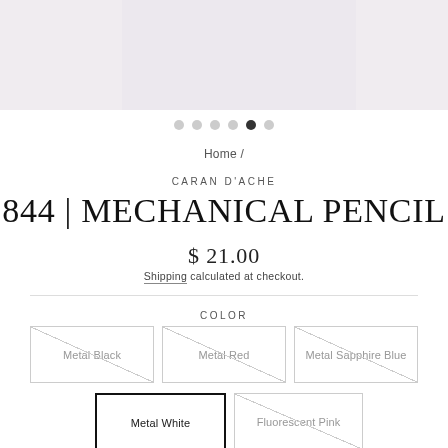[Figure (photo): Product image strip showing a pale lavender/pink background, partially visible product image area]
Home /
CARAN D'ACHE
844 | MECHANICAL PENCIL
$ 21.00
Shipping calculated at checkout.
COLOR
Metal Black
Metal Red
Metal Sapphire Blue
Metal White
Fluorescent Pink